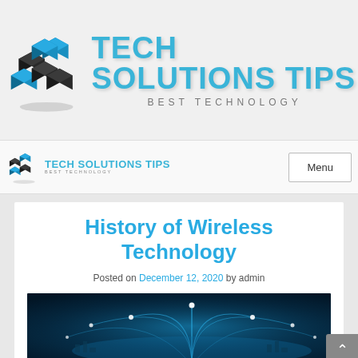[Figure (logo): Tech Solutions Tips logo with 3D black and blue cubes and large blue text 'TECH SOLUTIONS TIPS' with subtitle 'BEST TECHNOLOGY']
TECH SOLUTIONS TIPS | BEST TECHNOLOGY | Menu
History of Wireless Technology
Posted on December 12, 2020 by admin
[Figure (photo): Dark blue background with glowing network arcs and light dots representing wireless technology connectivity]